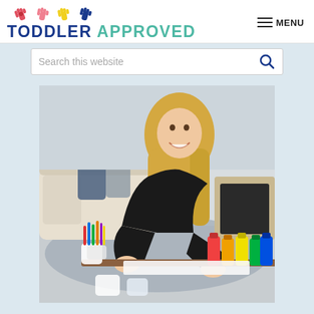[Figure (logo): Toddler Approved logo with colorful hand print icons and text 'TODDLER APPROVED' in blue and teal]
[Figure (other): Navigation menu icon (three horizontal lines) with MENU text]
[Figure (screenshot): Search bar with placeholder text 'Search this website' and a blue magnifying glass icon]
[Figure (photo): A smiling blonde woman in a black outfit leaning over a table covered with colorful art supplies including markers, crayons, and paint bottles in a living room setting]